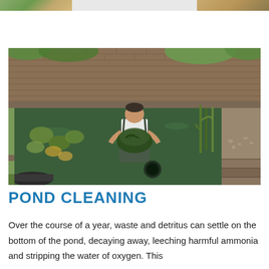[Figure (photo): Three partial photo thumbnails at top of page — left shows greenery/garden, middle is light/white, right shows brown/stone tones]
[Figure (photo): A man wearing waders and a white shirt stands inside a pond with brick walls, removing algae or aquatic weeds from the murky green water. Lily pads float on the left, reeds on the right, and a drain is visible in the lower center of the pond.]
POND CLEANING
Over the course of a year, waste and detritus can settle on the bottom of the pond, decaying away, leeching harmful ammonia and stripping the water of oxygen. This